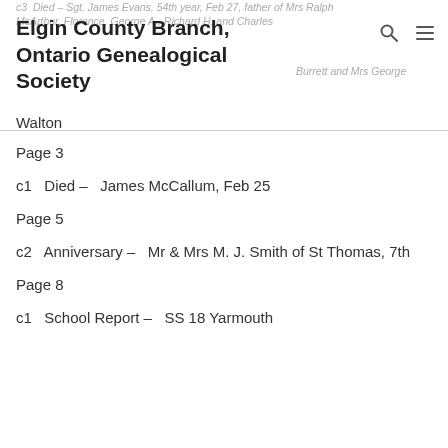c3   Died –  Sgt. James Evans, 54th year, Feb 27, father of Mrs Ralph McArthur, Florence, George A., Richard H. and Charles Burrett and Mrs George Walton
Elgin County Branch, Ontario Genealogical Society
Page 3
c1   Died –   James McCallum, Feb 25
Page 5
c2   Anniversary –   Mr & Mrs M. J. Smith of St Thomas, 7th
Page 8
c1   School Report –   SS 18 Yarmouth